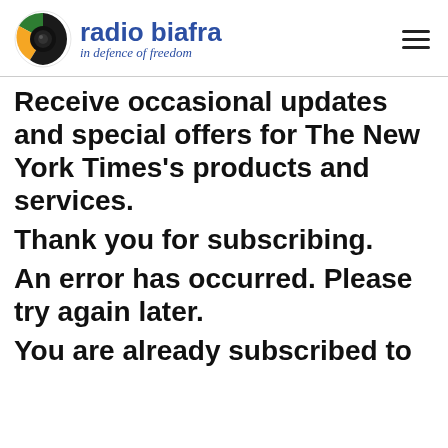radio biafra in defence of freedom
Receive occasional updates and special offers for The New York Times’s products and services.
Thank you for subscribing.
An error has occurred. Please try again later.
You are already subscribed to this newsletter.